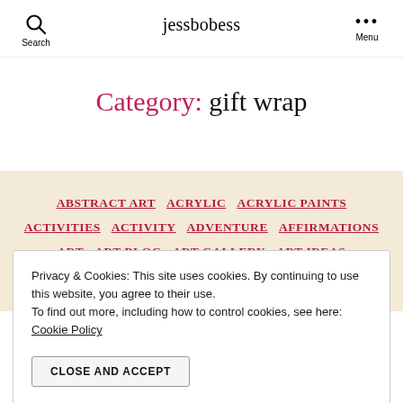jessbobess
Category: gift wrap
ABSTRACT ART  ACRYLIC  ACRYLIC PAINTS  ACTIVITIES  ACTIVITY  ADVENTURE  AFFIRMATIONS  ART  ART BLOG  ART GALLERY  ART IDEAS
Privacy & Cookies: This site uses cookies. By continuing to use this website, you agree to their use.
To find out more, including how to control cookies, see here:
Cookie Policy
CLOSE AND ACCEPT